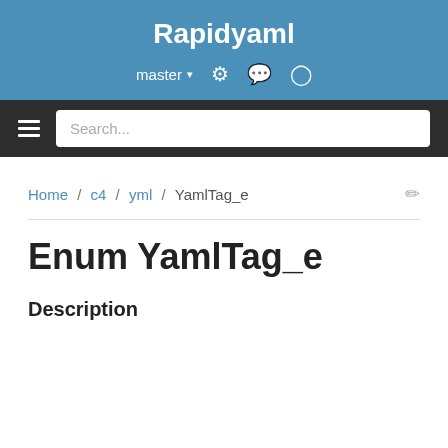Rapidyaml
master
Search...
Home / c4 / yml / YamlTag_e
Enum YamlTag_e
Description